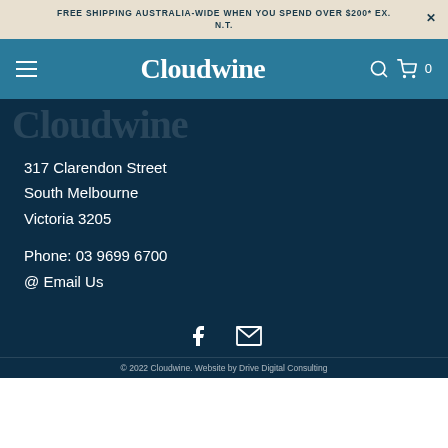FREE SHIPPING AUSTRALIA-WIDE WHEN YOU SPEND OVER $200* EX. N.T.
[Figure (logo): Cloudwine navigation bar with hamburger menu, Cloudwine logo, search icon, and cart icon with 0 count]
Cloudwine
317 Clarendon Street
South Melbourne
Victoria 3205
Phone: 03 9699 6700
@ Email Us
[Figure (other): Social media icons: Facebook and email/envelope icons]
© 2022 Cloudwine. Website by Drive Digital Consulting